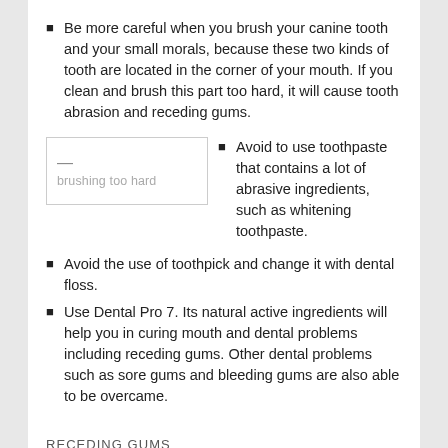Be more careful when you brush your canine tooth and your small morals, because these two kinds of tooth are located in the corner of your mouth. If you clean and brush this part too hard, it will cause tooth abrasion and receding gums.
Avoid to use toothpaste that contains a lot of abrasive ingredients, such as whitening toothpaste.
Avoid the use of toothpick and change it with dental floss.
Use Dental Pro 7. Its natural active ingredients will help you in curing mouth and dental problems including receding gums. Other dental problems such as sore gums and bleeding gums are also able to be overcame.
RECEDING GUMS
The treatments need to be done to heal tooth abrasion